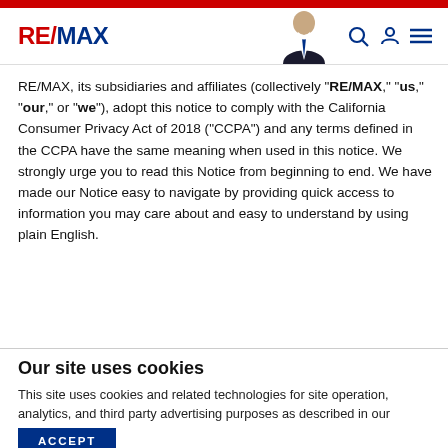RE/MAX
RE/MAX, its subsidiaries and affiliates (collectively "RE/MAX," "us," "our," or "we"), adopt this notice to comply with the California Consumer Privacy Act of 2018 ("CCPA") and any terms defined in the CCPA have the same meaning when used in this notice. We strongly urge you to read this Notice from beginning to end. We have made our Notice easy to navigate by providing quick access to information you may care about and easy to understand by using plain English.
Our site uses cookies
This site uses cookies and related technologies for site operation, analytics, and third party advertising purposes as described in our Privacy Notice .